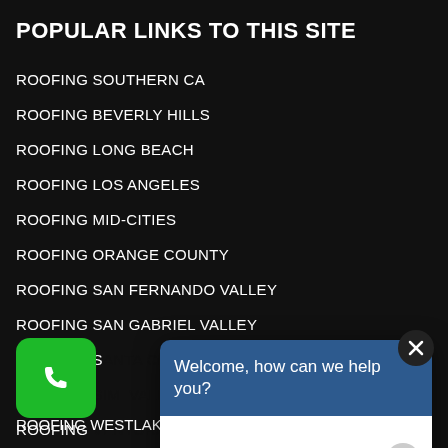POPULAR LINKS TO THIS SITE
ROOFING SOUTHERN CA
ROOFING BEVERLY HILLS
ROOFING LONG BEACH
ROOFING LOS ANGELES
ROOFING MID-CITIES
ROOFING ORANGE COUNTY
ROOFING SAN FERNANDO VALLEY
ROOFING SAN GABRIEL VALLEY
ROOFING S...
ROOFING...
ROOFING...
[Figure (screenshot): Chat popup widget with blue header saying 'Welcome, how can we help you?' and white message input area with placeholder 'Write your message...' and a circular send button]
ROOFING WESTLAKE